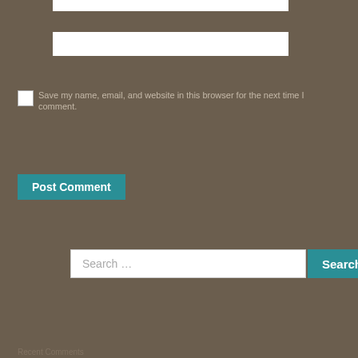[Figure (screenshot): A web form interface on a dark brownish-taupe background. At the top, two white input fields are visible (partially cropped). Below, a checkbox with label text in muted color. A teal 'Post Comment' button. A search bar with placeholder text 'Search ...' and a teal 'Search' button. Below that, faint section labels and links in muted tones.]